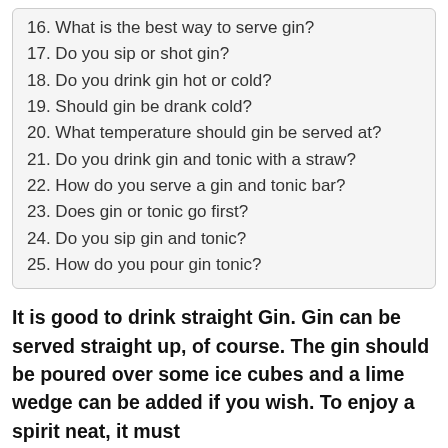16. What is the best way to serve gin?
17. Do you sip or shot gin?
18. Do you drink gin hot or cold?
19. Should gin be drank cold?
20. What temperature should gin be served at?
21. Do you drink gin and tonic with a straw?
22. How do you serve a gin and tonic bar?
23. Does gin or tonic go first?
24. Do you sip gin and tonic?
25. How do you pour gin tonic?
It is good to drink straight Gin. Gin can be served straight up, of course. The gin should be poured over some ice cubes and a lime wedge can be added if you wish. To enjoy a spirit neat, it must